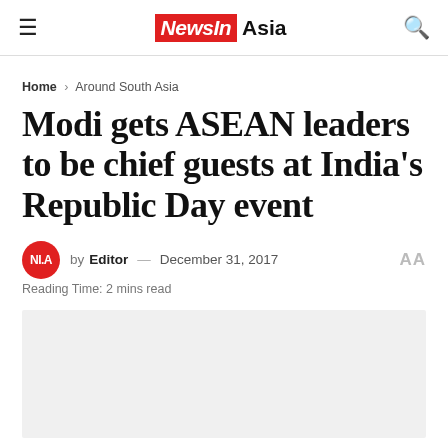≡  NewsIn Asia  🔍
Home › Around South Asia
Modi gets ASEAN leaders to be chief guests at India's Republic Day event
by Editor — December 31, 2017
Reading Time: 2 mins read
[Figure (photo): Light grey image placeholder]